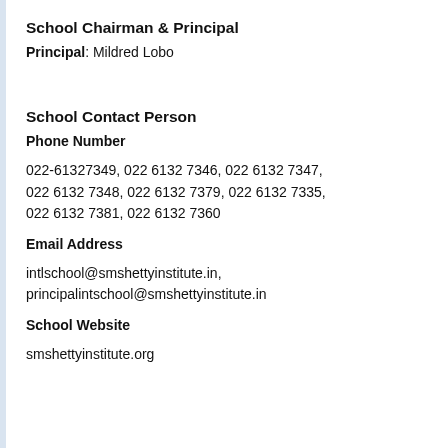School Chairman & Principal
Principal: Mildred Lobo
School Contact Person
Phone Number
022-61327349, 022 6132 7346, 022 6132 7347, 022 6132 7348, 022 6132 7379, 022 6132 7335, 022 6132 7381, 022 6132 7360
Email Address
intlschool@smshettyinstitute.in, principalintschool@smshettyinstitute.in
School Website
smshettyinstitute.org